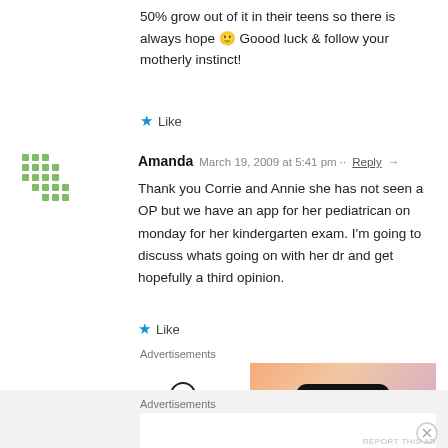50% grow out of it in their teens so there is always hope 🙂 Goood luck & follow your motherly instinct!
★ Like
Amanda   March 19, 2009 at 5:41 pm ·· Reply →
Thank you Corrie and Annie she has not seen a OP but we have an app for her pediatrican on monday for her kindergarten exam. I'm going to discuss whats going on with her dr and get hopefully a third opinion.
★ Like
Advertisements
[Figure (other): WordPress VIP advertisement banner with 'Learn more →' button on colorful gradient background]
REPORT THIS AD
Advertisements